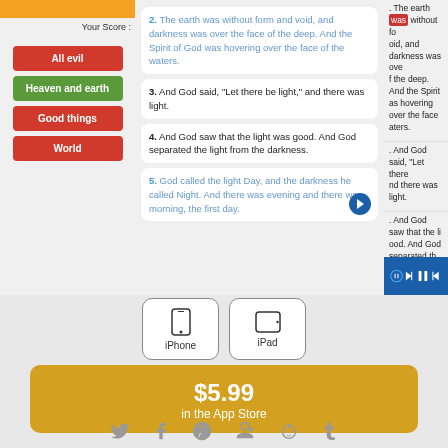[Figure (screenshot): Mobile app screenshot showing Bible quiz (left panel with red/green answer buttons: All evil, Heaven and earth, Good things, World), scripture reading view (middle panel with verses 2-5 from Genesis in blue and black text), and audio/highlighted reading view (right panel with highlighted word and audio controls)]
[Figure (infographic): iPhone and iPad device buttons indicating app availability]
$5.99
in the App Store
[Figure (infographic): Social media share icons: Twitter, Facebook, Pinterest, Google+, Reddit, Tumblr]